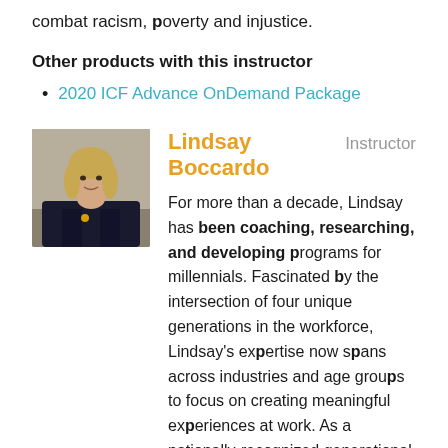combat racism, poverty and injustice.
Other products with this instructor
2020 ICF Advance OnDemand Package
[Figure (photo): Headshot photo of Lindsay Boccardo, a woman with blonde hair wearing a dark jacket]
Lindsay Boccardo  Instructor
For more than a decade, Lindsay has been coaching, researching, and developing programs for millennials. Fascinated by the intersection of four unique generations in the workforce, Lindsay's expertise now spans across industries and age groups to focus on creating meaningful experiences at work. As a nationally-recognized generational expert, Lindsay has partnered with organizations such as